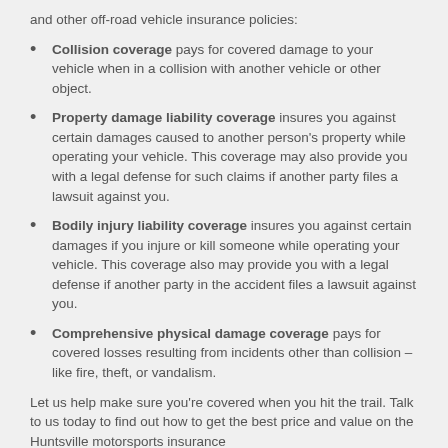and other off-road vehicle insurance policies:
Collision coverage pays for covered damage to your vehicle when in a collision with another vehicle or other object.
Property damage liability coverage insures you against certain damages caused to another person's property while operating your vehicle. This coverage may also provide you with a legal defense for such claims if another party files a lawsuit against you.
Bodily injury liability coverage insures you against certain damages if you injure or kill someone while operating your vehicle. This coverage also may provide you with a legal defense if another party in the accident files a lawsuit against you.
Comprehensive physical damage coverage pays for covered losses resulting from incidents other than collision – like fire, theft, or vandalism.
Let us help make sure you're covered when you hit the trail. Talk to us today to find out how to get the best price and value on the Huntsville motorsports insurance